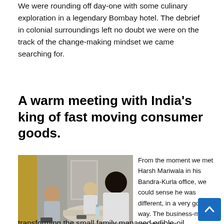We were rounding off day-one with some culinary exploration in a legendary Bombay hotel. The debrief in colonial surroundings left no doubt we were on the track of the change-making mindset we came searching for.
A warm meeting with India's king of fast moving consumer goods.
[Figure (photo): Three men in a meeting room setting; two seated on the left side of a table, one with back to camera on the right. Yellow and grey wall panels visible in background.]
From the moment we met Harsh Mariwala in his Bandra-Kurla office, we could sense he was different, in a very good way. The business-magic he has done, is
transforming the small family managed edible-oil company into